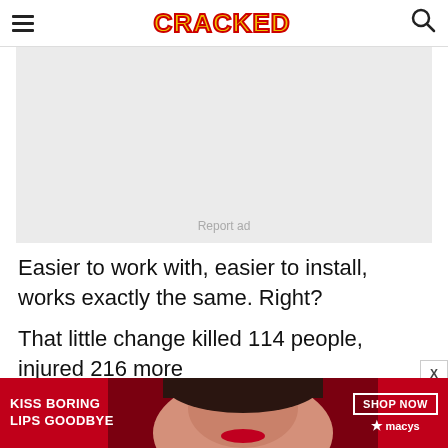CRACKED (logo with hamburger menu and search icon)
[Figure (other): Gray advertisement placeholder box with 'Report ad' text at bottom center]
Easier to work with, easier to install, works exactly the same. Right?
That little change killed 114 people, injured 216 more
[Figure (other): Macy's advertisement banner: red background with woman's face, text 'KISS BORING LIPS GOODBYE' and 'SHOP NOW' button with Macy's star logo]